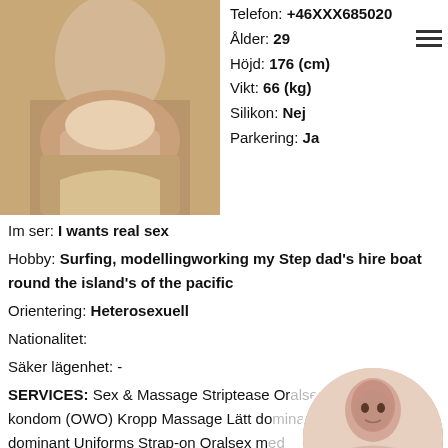[Figure (photo): Partial photo of a person near a bathtub, top left area]
Telefon: +46XXX685020
Ålder: 29
Höjd: 176 (cm)
Vikt: 66 (kg)
Silikon: Nej
Parkering: Ja
Im ser: I wants real sex
Hobby: Surfing, modellingworking my Step dad's hire boat round the island's of the pacific
Orientering: Heterosexuell
Nationalitet:
Säker lägenhet: -
SERVICES: Sex & Massage Striptease Oralsex utan kondom (OWO) Kropp Massage Lätt dominant dominant Uniforms Strap-on Oralsex med Pulla Penismassage Fetischer Erfarenhet (GFE) Svensexa Bröstknulla Roll förändras Om...
[Figure (photo): Circular thumbnail photo of a dark-haired woman, bottom right]